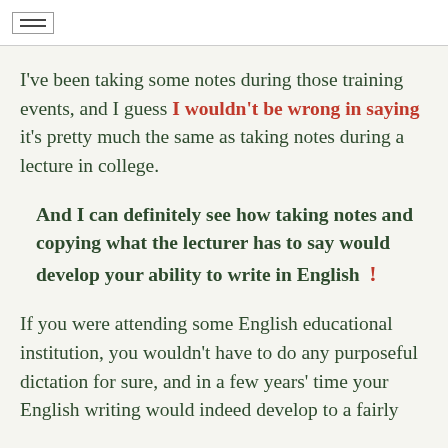≡
I've been taking some notes during those training events, and I guess I wouldn't be wrong in saying it's pretty much the same as taking notes during a lecture in college.
And I can definitely see how taking notes and copying what the lecturer has to say would develop your ability to write in English !
If you were attending some English educational institution, you wouldn't have to do any purposeful dictation for sure, and in a few years' time your English writing would indeed develop to a fairly